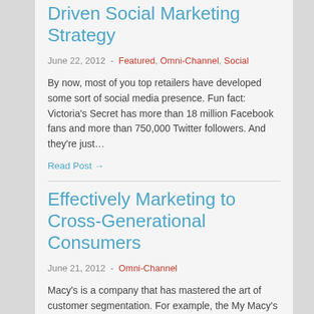Driven Social Marketing Strategy
June 22, 2012  -  Featured, Omni-Channel, Social
By now, most of you top retailers have developed some sort of social media presence. Fun fact: Victoria's Secret has more than 18 million Facebook fans and more than 750,000 Twitter followers. And they're just…
Read Post →
Effectively Marketing to Cross-Generational Consumers
June 21, 2012  -  Omni-Channel
Macy's is a company that has mastered the art of customer segmentation. For example, the My Macy's localization initiative created customized inventories at each store location specific to